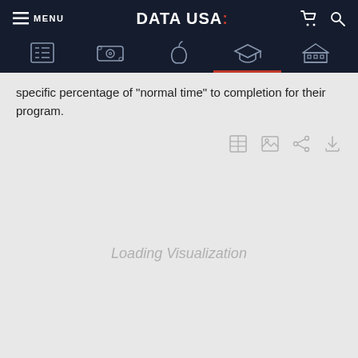MENU | DATA USA: | [cart icon] [search icon]
specific percentage of "normal time" to completion for their program.
[Figure (screenshot): Toolbar with four icon buttons: table/list view, image view, share, and cart/download]
[Figure (other): Loading Visualization placeholder area showing 'Loading Visualization' text]